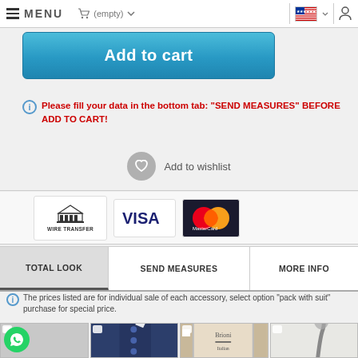MENU | (empty) | [cart] [flag] [user]
Add to cart
Please fill your data in the bottom tab: "SEND MEASURES" BEFORE ADD TO CART!
Add to wishlist
[Figure (logo): Payment method logos: Wire Transfer, Visa, MasterCard]
TOTAL LOOK | SEND MEASURES | MORE INFO
The prices listed are for individual sale of each accessory, select option "pack with suit" purchase for special price.
[Figure (photo): Four product thumbnails: WhatsApp icon/cane, blue suit with accessories, branded box, silver cane handle]